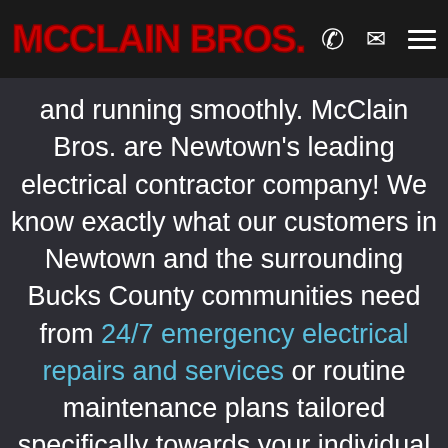MCCLAIN BROS.
and running smoothly. McClain Bros. are Newtown's leading electrical contractor company! We know exactly what our customers in Newtown and the surrounding Bucks County communities need from 24/7 emergency electrical repairs and services or routine maintenance plans tailored specifically towards your individual needs; we've got it all at our disposal. Having The McClain Bros. on your side means there's no need to keep searching for "electricians near me" or "local electrician." If you're in Newtown or the surrounding area and